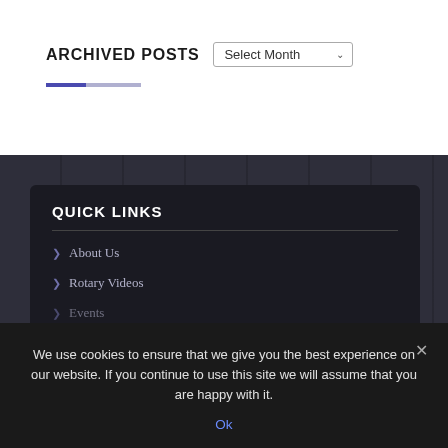ARCHIVED POSTS
Select Month
QUICK LINKS
About Us
Rotary Videos
Events
We use cookies to ensure that we give you the best experience on our website. If you continue to use this site we will assume that you are happy with it.
Ok